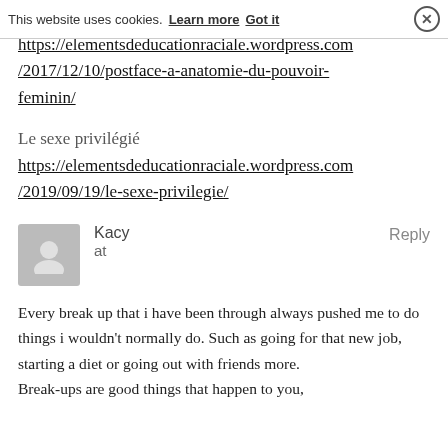This website uses cookies. Learn more   Got it   ✕
https://elementsdeducationraciale.wordpress.com/2017/12/10/postface-a-anatomie-du-pouvoir-feminin/
Le sexe privilégié
https://elementsdeducationraciale.wordpress.com/2019/09/19/le-sexe-privilegie/
Kacy
at
Reply
Every break up that i have been through always pushed me to do things i wouldn't normally do. Such as going for that new job, starting a diet or going out with friends more.
Break-ups are good things that happen to you,